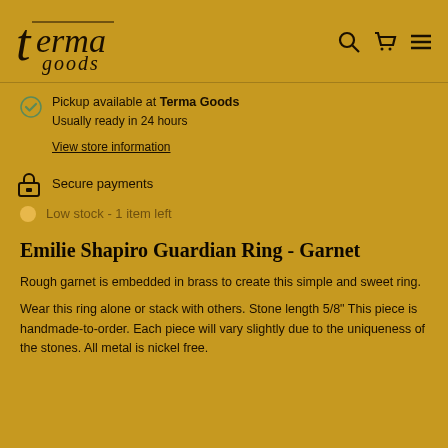terma goods
Pickup available at Terma Goods
Usually ready in 24 hours
View store information
Secure payments
Low stock - 1 item left
Emilie Shapiro Guardian Ring - Garnet
Rough garnet is embedded in brass to create this simple and sweet ring.
Wear this ring alone or stack with others. Stone length 5/8" This piece is handmade-to-order. Each piece will vary slightly due to the uniqueness of the stones. All metal is nickel free.